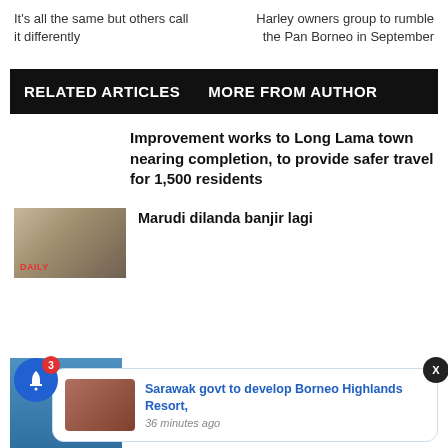It’s all the same but others call it differently
Harley owners group to rumble the Pan Borneo in September
RELATED ARTICLES   MORE FROM AUTHOR
Improvement works to Long Lama town nearing completion, to provide safer travel for 1,500 residents
[Figure (photo): Flood scene photo with DAILY overlay text]
Marudi dilanda banjir lagi
[Figure (photo): Notification popup: Sarawak govt to develop Borneo Highlands Resort, 36 minutes ago, with person photo thumbnail]
[Figure (photo): Person in blue uniform at bottom left]
catchment area